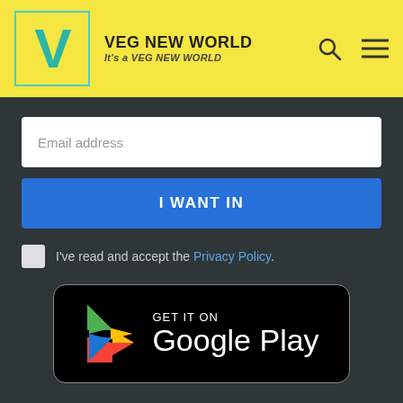[Figure (logo): Veg New World logo with yellow background, teal V letter in a bordered box, brand name 'VEG NEW WORLD' and tagline 'It's a VEG NEW WORLD', with search and hamburger menu icons]
Email address
I WANT IN
I've read and accept the Privacy Policy.
[Figure (logo): Google Play store badge: black rounded rectangle with Google Play triangle icon in red/yellow/green/blue and text 'GET IT ON Google Play' in white]